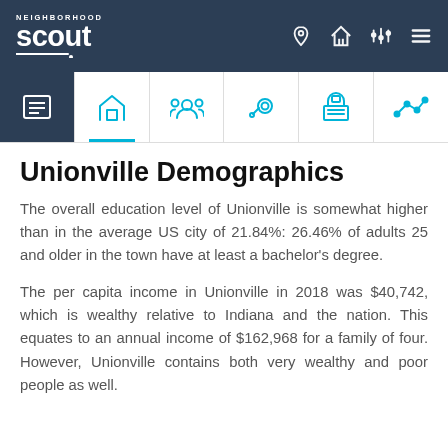Neighborhood Scout
Unionville Demographics
The overall education level of Unionville is somewhat higher than in the average US city of 21.84%: 26.46% of adults 25 and older in the town have at least a bachelor's degree.
The per capita income in Unionville in 2018 was $40,742, which is wealthy relative to Indiana and the nation. This equates to an annual income of $162,968 for a family of four. However, Unionville contains both very wealthy and poor people as well.